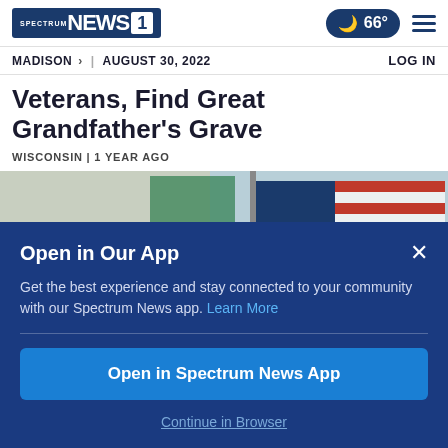Spectrum News 1 | MADISON > | AUGUST 30, 2022 | 66° | LOG IN
Veterans, Find Great Grandfather's Grave
WISCONSIN | 1 YEAR AGO
[Figure (photo): American flag and another flag against a light blue sky background]
Open in Our App
Get the best experience and stay connected to your community with our Spectrum News app. Learn More
Open in Spectrum News App
Continue in Browser